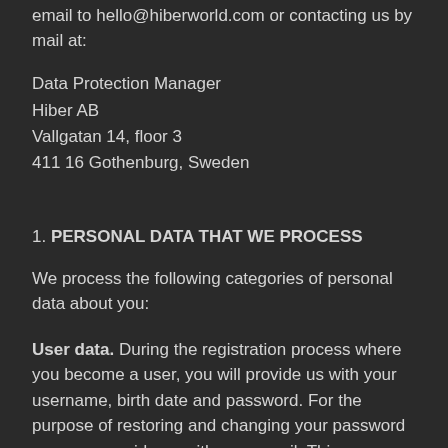email to hello@hiberworld.com or contacting us by mail at:
Data Protection Manager
Hiber AB
Vallgatan 14, floor 3
411 16 Gothenburg, Sweden
1. PERSONAL DATA THAT WE PROCESS
We process the following categories of personal data about you:
User data. During the registration process where you become a user, you will provide us with your username, birth date and password. For the purpose of restoring and changing your password you may provide us with your email. This information only becomes personal data if you use